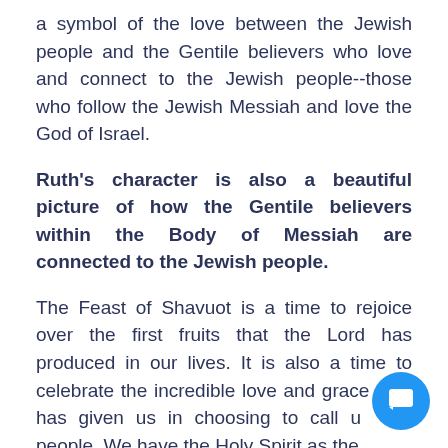a symbol of the love between the Jewish people and the Gentile believers who love and connect to the Jewish people--those who follow the Jewish Messiah and love the God of Israel.
Ruth's character is also a beautiful picture of how the Gentile believers within the Body of Messiah are connected to the Jewish people.
The Feast of Shavuot is a time to rejoice over the first fruits that the Lord has produced in our lives. It is also a time to celebrate the incredible love and grace God has given us in choosing to call us His people. We have the Holy Spirit as the